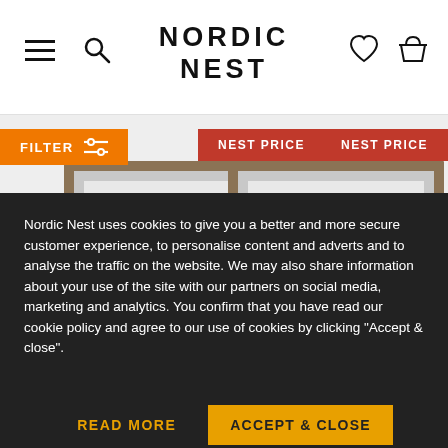NORDIC NEST
[Figure (screenshot): Product listing page showing two photo frames with NEST PRICE badges and a FILTER button]
Nordic Nest uses cookies to give you a better and more secure customer experience, to personalise content and adverts and to analyse the traffic on the website. We may also share information about your use of the site with our partners on social media, marketing and analytics. You confirm that you have read our cookie policy and agree to our use of cookies by clicking "Accept & close".
READ MORE
ACCEPT & CLOSE